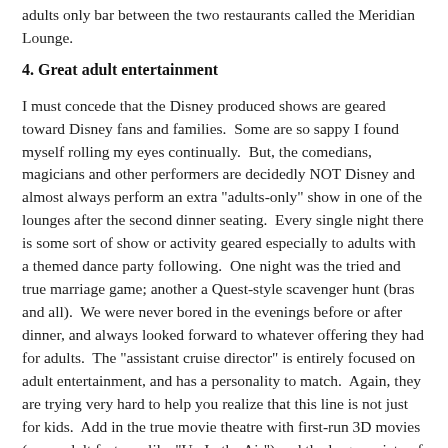adults only bar between the two restaurants called the Meridian Lounge.
4. Great adult entertainment
I must concede that the Disney produced shows are geared toward Disney fans and families.  Some are so sappy I found myself rolling my eyes continually.  But, the comedians, magicians and other performers are decidedly NOT Disney and almost always perform an extra "adults-only" show in one of the lounges after the second dinner seating.  Every single night there is some sort of show or activity geared especially to adults with a themed dance party following.  One night was the tried and true marriage game; another a Quest-style scavenger hunt (bras and all).  We were never bored in the evenings before or after dinner, and always looked forward to whatever offering they had for adults.  The "assistant cruise director" is entirely focused on adult entertainment, and has a personality to match.  Again, they are trying very hard to help you realize that this line is not just for kids.  Add in the true movie theatre with first-run 3D movies (even adult features like "Up In the Air") and the large variety of drink tastings around the ship, and adults are unlikely to get bored,